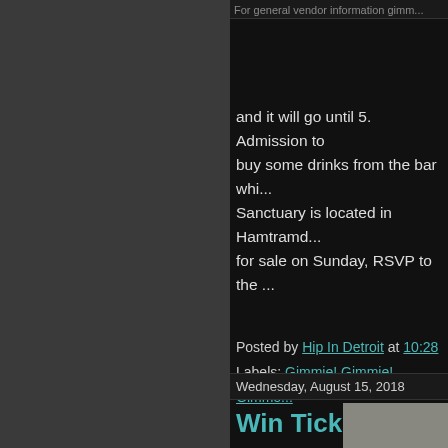For general vendor information gimm...
and it will go until 5. Admission to buy some drinks from the bar whi... Sanctuary is located in Hamtramd... for sale on Sunday, RSVP to the...
Posted by Hip In Detroit at 10:28...
Labels: Gimmie! Gimmie! Gimme...
Wednesday, August 15, 2018
Win Tickets to Se...